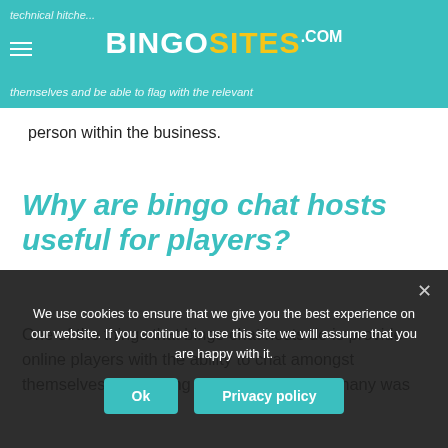BINGOSITES.com
person within the business.
Why are bingo chat hosts useful for players?
One of the things that bingo chat hosts do is provide online players with the ability to chat amongst themselves; something that it was obvious many was
We use cookies to ensure that we give you the best experience on our website. If you continue to use this site we will assume that you are happy with it. Ok Privacy policy